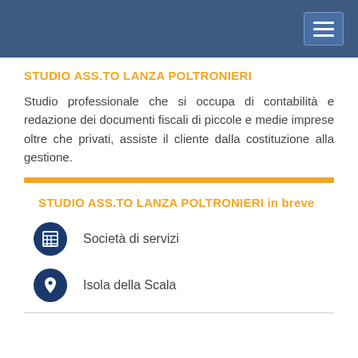STUDIO ASS.TO LANZA POLTRONIERI
Studio professionale che si occupa di contabilità e redazione dei documenti fiscali di piccole e medie imprese oltre che privati, assiste il cliente dalla costituzione alla gestione.
STUDIO ASS.TO LANZA POLTRONIERI in breve
Società di servizi
Isola della Scala